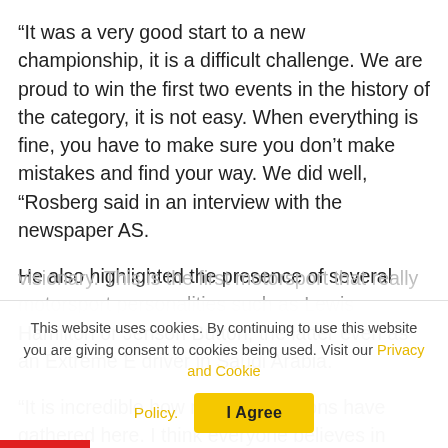“It was a very good start to a new championship, it is a difficult challenge. We are proud to win the first two events in the history of the category, it is not easy. When everything is fine, you have to make sure you don’t make mistakes and find your way. We did well, “Rosberg said in an interview with the newspaper AS.
He also highlighted the presence of several motorsport personalities such as Lewis Hamilton or Jenson Button, the latter even as an Extreme E driver in Saudi Arabia.
“It is incredible how many champions have gathered here. I think everyone believes in Alejandro Agag too, he is a visionary. This is the first motorsport that really has such a
This website uses cookies. By continuing to use this website you are giving consent to cookies being used. Visit our Privacy and Cookie Policy.
I Agree